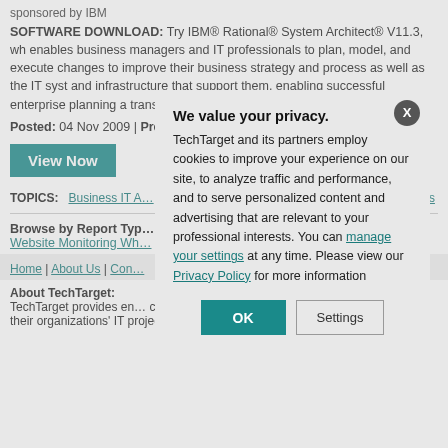sponsored by IBM
SOFTWARE DOWNLOAD: Try IBM® Rational® System Architect® V11.3, which enables business managers and IT professionals to plan, model, and execute changes to improve their business strategy and process as well as the IT systems and infrastructure that support them, enabling successful enterprise planning and transformation.
Posted: 04 Nov 2009 | Premiered: 04 Nov 2009
[Figure (screenshot): View Now button in teal]
TOPICS: Business IT Alignment | Enterprise Resource Management | IT Spending | IT Systems
Browse by Report Type: Website Monitoring Whitepapers
Home | About Us | Contact
About TechTarget: TechTarget provides enterprise IT professionals with cost-effective IT purchase decisions and managing their organizations' IT projects.
We value your privacy. TechTarget and its partners employ cookies to improve your experience on our site, to analyze traffic and performance, and to serve personalized content and advertising that are relevant to your professional interests. You can manage your settings at any time. Please view our Privacy Policy for more information
[Figure (screenshot): OK and Settings buttons in modal dialog]